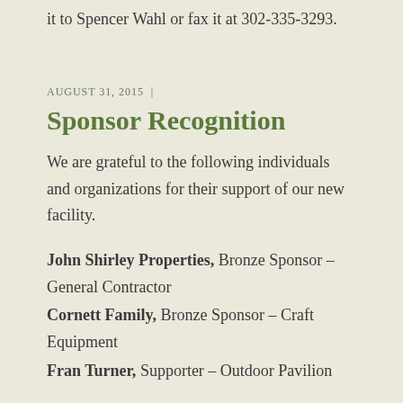it to Spencer Wahl or fax it at 302-335-3293.
AUGUST 31, 2015  |
Sponsor Recognition
We are grateful to the following individuals and organizations for their support of our new facility.
John Shirley Properties, Bronze Sponsor – General Contractor
Cornett Family, Bronze Sponsor – Craft Equipment
Fran Turner, Supporter – Outdoor Pavilion